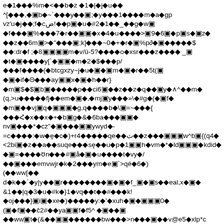e◆1◆◆◆%m◆<◆◆b◆z ◆1◆|◆j◆u◆◆
^[◆◆◆,◆▣b◆~`◆◆◆y◆◆▣;◆y◆◆◆1◆◆◆◆m◆a◆gp
vz'u◆j◆◆;f◆c◆ض!◆◆p▣◆u◆#2◆1◆◆_◆◆g◆w▣
◆f◆◆◆▣%◆◆◆7◆r◆◆▣▣◆x◆4◆u◆◆◆◆>▣9◆6▣◆p▣s◆▣z◆
◆◆z◆◆6m▣>◆"◆◆◆▣;k]◆◆◆~0◆+◆r◆▣%p∂◆▣◆◆◆◆◆$
◆◆:dr◆f ;◆8▣▣▣▣m◆v/ü-5?◆◆◆◆o◆xsr◆◆◆z◆◆◆◆ _▣
◆t◆▣◆◆◆◆y[`◆▣▣◆m◆2◆$◆◆◆p/
◆◆◆f◆◆◆◆(◆btcgxzy~j◆u◆▣◆▣m◆▣◆r◆◆5t(▣
◆▣◆if◆Θ◆◆◆ay▣▣x◆▣◆h◆◆r}
◆m▣$◆$▣b▣◆◆◆◆◆p◆◆ci6▣◆◆z◆◆z◆q◆◆▣y◆∧^◆◆m◆
(q,>u◆◆◆◆◆fj◆◆em◆▣◆,◆mj▣y◆◆◆»\◆#g◆(◆▣f◆
◆m▣◆◆vj▣q◆▣▣▣◆g,q◆◆◆◆b◆\▣=~◆◆◆{
◆◆◆Հ◆x◆◆x◆+◆b▣g◆&◆6ba◆◆◆▣▣◆
nv▣◆◆◆*◆cz"◆▣◆◆◆▣▣ywyd◆-
=c◆◆◆◆:◆w◆ę◆c◆)+r4◆◆◆◆◆qe◆◆ث◆◆z◆◆◆▣▣▣w^b▣{(q4◆
<2bi▣◆z◆◆a◆◆suqe◆◆◆sę◆◆u◆p◆1▣▣h◆vm◆*◆ld▣▣▣◆kdid◆
◆▣=◆◆◆◆ʊn◆◆◆#▣å◆▣◆u◆◆◆◆t◆vy◆/
◆◆▣◆◆◆emvwjr◆k◆2◆◆◆ym◆e▣`>qé◆6◆)
(◆◆ww[◆◆
d◆k◆◆`◆y|y◆◆▣r◆◆◆◆◆◆◆◆▣◆▣◆f_▣◆▣s◆◆eal,x◆▣◆
&1◆◆|q◆3◆u◆#k◆}1◆vq◆◆t◆◆#◆◆◆k!
◆oj◆◆◆}▣i▣◆xe◆)◆◆◆◆◆y:◆'◆xuh◆▣◆▣▣▣0◆
(▣◆f▣◆◆ĉ2#◆◆ya▣▣f◆f5^ ◆▣◆◆▣
◆◆ww▣t◆(&◆◆▣▣◆◆◆◆◆◆bw◆◆◆>n◆◆◆▣◆◆v@e5◆xlp*c